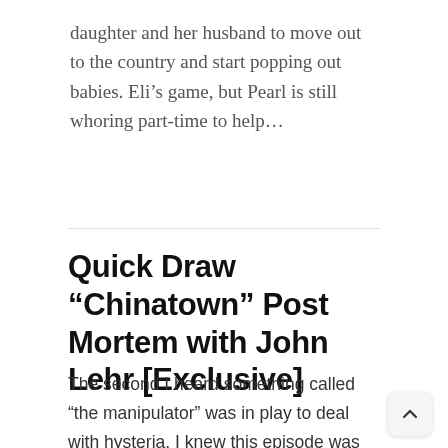daughter and her husband to move out to the country and start popping out babies. Eli's game, but Pearl is still whoring part-time to help...
Quick Draw “Chinatown” Post Mortem with John Lehr [Exclusive]
The second I heard something called “the manipulator” was in play to deal with hysteria, I knew this episode was going to be wildly inappropriate and ridiculously funny. I also love that Kate Frisbee’s Wanda gets a little more face time. Hoyle actually deputizes her so she can help